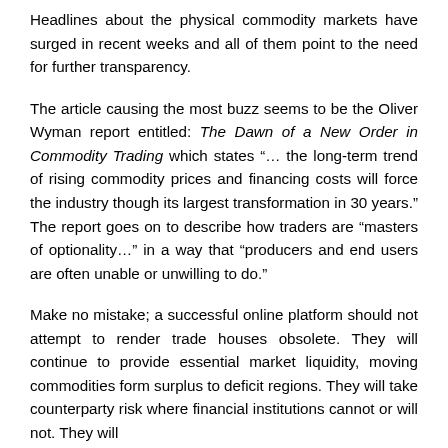Headlines about the physical commodity markets have surged in recent weeks and all of them point to the need for further transparency.
The article causing the most buzz seems to be the Oliver Wyman report entitled: The Dawn of a New Order in Commodity Trading which states "… the long-term trend of rising commodity prices and financing costs will force the industry though its largest transformation in 30 years." The report goes on to describe how traders are "masters of optionality…" in a way that "producers and end users are often unable or unwilling to do."
Make no mistake; a successful online platform should not attempt to render trade houses obsolete. They will continue to provide essential market liquidity, moving commodities form surplus to deficit regions. They will take counterparty risk where financial institutions cannot or will not. They will